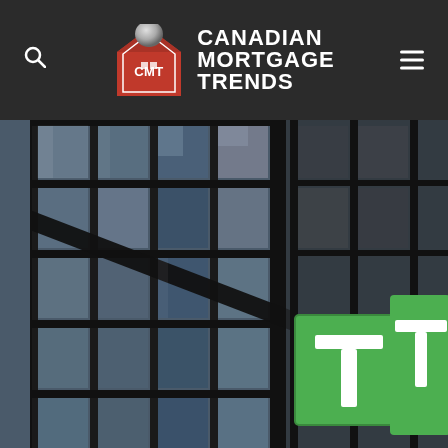Canadian Mortgage Trends
[Figure (photo): Photograph of a glass office tower building exterior with TD Bank green logo signs visible on the facade. The building has a grid of reflective glass windows and dark structural elements.]